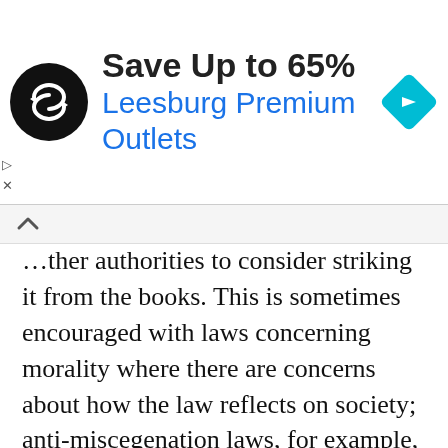[Figure (infographic): Advertisement banner: black circular logo with double arrow symbol, text 'Save Up to 65%' in bold black, 'Leesburg Premium Outlets' in blue, and a cyan navigation/direction diamond icon on the right]
other authorities to consider striking it from the books. This is sometimes encouraged with laws concerning morality where there are concerns about how the law reflects on society; anti-miscegenation laws, for example, are considered racist in many regions and people may want to remove the laws from the legal code to send a clear message to society.